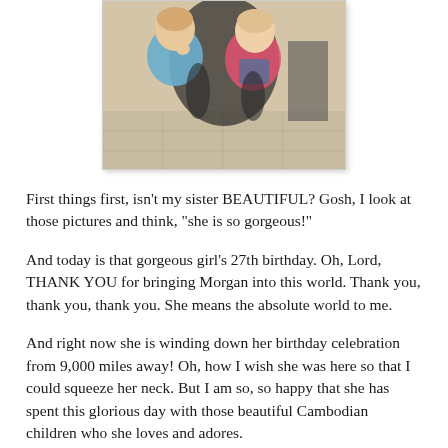[Figure (photo): Photo of two young children (toddlers) posing together indoors, one in blue and one in pink/denim overalls, with an adult partially visible behind them.]
First things first, isn't my sister BEAUTIFUL? Gosh, I look at those pictures and think, "she is so gorgeous!"
And today is that gorgeous girl's 27th birthday. Oh, Lord, THANK YOU for bringing Morgan into this world. Thank you, thank you, thank you. She means the absolute world to me.
And right now she is winding down her birthday celebration from 9,000 miles away! Oh, how I wish she was here so that I could squeeze her neck. But I am so, so happy that she has spent this glorious day with those beautiful Cambodian children who she loves and adores.
Morgan, you are my soul sister, through and through. If this last week is proof of anything, it's that I am an absolute basket case without you. Is it Sunday yet?